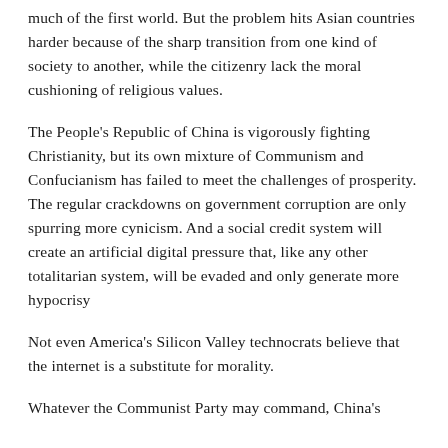much of the first world. But the problem hits Asian countries harder because of the sharp transition from one kind of society to another, while the citizenry lack the moral cushioning of religious values.
The People's Republic of China is vigorously fighting Christianity, but its own mixture of Communism and Confucianism has failed to meet the challenges of prosperity. The regular crackdowns on government corruption are only spurring more cynicism. And a social credit system will create an artificial digital pressure that, like any other totalitarian system, will be evaded and only generate more hypocrisy
Not even America's Silicon Valley technocrats believe that the internet is a substitute for morality.
Whatever the Communist Party may command, China's